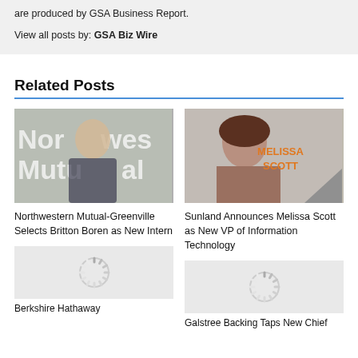are produced by GSA Business Report.
View all posts by: GSA Biz Wire
Related Posts
[Figure (photo): Young man smiling in front of Northwestern Mutual sign]
Northwestern Mutual-Greenville Selects Britton Boren as New Intern
[Figure (photo): Headshot of Melissa Scott with orange text reading MELISSA SCOTT and a grey triangle graphic]
Sunland Announces Melissa Scott as New VP of Information Technology
[Figure (other): Loading spinner image placeholder]
Berkshire Hathaway
[Figure (other): Loading spinner image placeholder]
Galstree Backing Taps New Chief